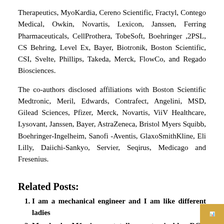Therapeutics, MyoKardia, Cereno Scientific, Fractyl, Contego Medical, Owkin, Novartis, Lexicon, Janssen, Ferring Pharmaceuticals, CellProthera, TobeSoft, Boehringer ,2PSL, CS Behring, Level Ex, Bayer, Biotronik, Boston Scientific, CSI, Svelte, Phillips, Takeda, Merck, FlowCo, and Regado Biosciences.
The co-authors disclosed affiliations with Boston Scientific Medtronic, Meril, Edwards, Contrafect, Angelini, MSD, Gilead Sciences, Pfizer, Merck, Novartis, ViiV Healthcare, Lysovant, Janssen, Bayer, AstraZeneca, Bristol Myers Squibb, Boehringer-Ingelheim, Sanofi -Aventis, GlaxoSmithKline, Eli Lilly, Daiichi-Sankyo, Servier, Seqirus, Medicago and Fresenius.
Related Posts:
I am a mechanical engineer and I am like different ladies
Marsback M1 is a totally customizable RGB mechanical keyboard
Mechanical watches MARKET | COVID-19 GLOBAL